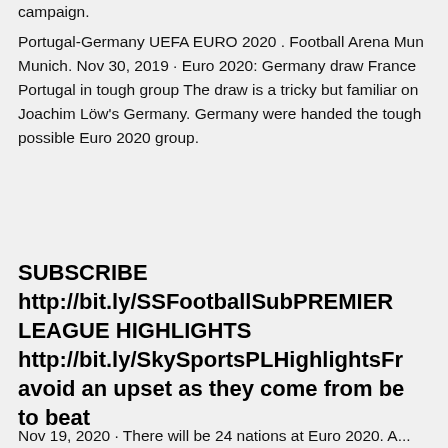campaign.
Portugal-Germany UEFA EURO 2020 . Football Arena Munich. Nov 30, 2019 · Euro 2020: Germany draw France Portugal in tough group The draw is a tricky but familiar one Joachim Löw's Germany. Germany were handed the toughest possible Euro 2020 group.
SUBSCRIBE http://bit.ly/SSFootballSubPREMIER LEAGUE HIGHLIGHTS http://bit.ly/SkySportsPLHighlightsFr avoid an upset as they come from be to beat
Nov 19, 2020 · There will be 24 nations at Euro 2020. A...